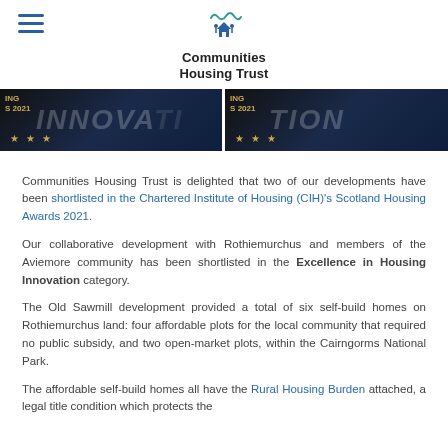[Figure (logo): Communities Housing Trust logo with house/people icon and wave graphic above the organisation name]
[Figure (photo): Two dark banner images with 'INNOVATION' text overlay and 'CIH HOUSING AWARDS 2021' badge with gold stars]
Communities Housing Trust is delighted that two of our developments have been shortlisted in the Chartered Institute of Housing (CIH)'s Scotland Housing Awards 2021.
Our collaborative development with Rothiemurchus and members of the Aviemore community has been shortlisted in the Excellence in Housing Innovation category.
The Old Sawmill development provided a total of six self-build homes on Rothiemurchus land: four affordable plots for the local community that required no public subsidy, and two open-market plots, within the Cairngorms National Park.
The affordable self-build homes all have the Rural Housing Burden attached, a legal title condition which protects the